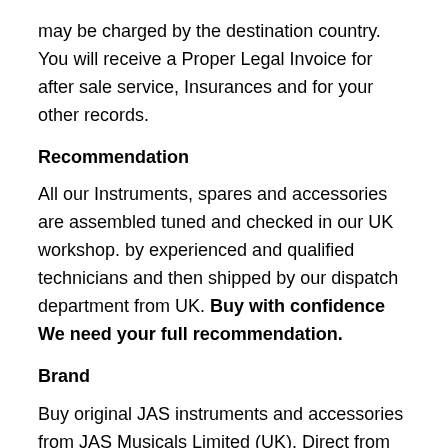may be charged by the destination country. You will receive a Proper Legal Invoice for after sale service, Insurances and for your other records.
Recommendation
All our Instruments, spares and accessories are assembled tuned and checked in our UK workshop. by experienced and qualified technicians and then shipped by our dispatch department from UK. Buy with confidence We need your full recommendation.
Brand
Buy original JAS instruments and accessories from JAS Musicals Limited (UK). Direct from JAS Musicals or our authorised dealers only.  JAS Musicals is a musical instrument manufacturing company registered in England and